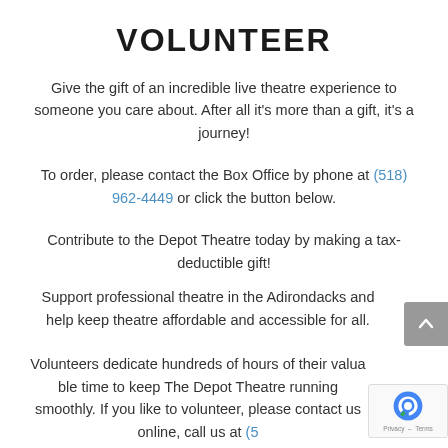VOLUNTEER
Give the gift of an incredible live theatre experience to someone you care about. After all it's more than a gift, it's a journey!
To order, please contact the Box Office by phone at (518) 962-4449 or click the button below.
Contribute to the Depot Theatre today by making a tax-deductible gift!
Support professional theatre in the Adirondacks and help keep theatre affordable and accessible for all.
Volunteers dedicate hundreds of hours of their valuable time to keep The Depot Theatre running smoothly. If you like to volunteer, please contact us online, call us at (5... 962-4449 or stop by and chat with our friendly staff...